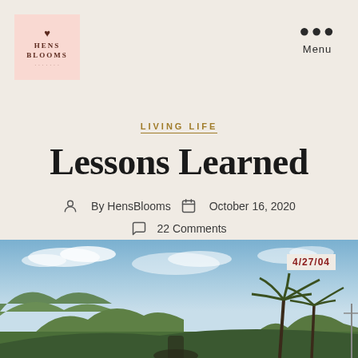[Figure (logo): Hens Blooms logo in pink square with heart icon and serif text]
Menu
LIVING LIFE
Lessons Learned
By HensBlooms   October 16, 2020   22 Comments
[Figure (photo): Outdoor landscape photo with blue sky, clouds, green hills, and palm trees with date stamp 4/27/04]